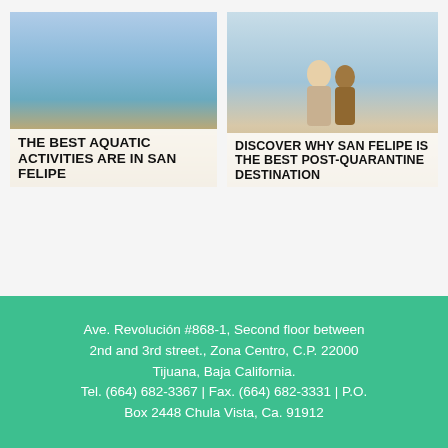[Figure (photo): Photo of a beach scene with sky and sandy shore, used as card image for aquatic activities article]
THE BEST AQUATIC ACTIVITIES ARE IN SAN FELIPE
[Figure (photo): Photo of two people viewed from behind standing at a beach with cloudy sky, used as card image for post-quarantine destination article]
DISCOVER WHY SAN FELIPE IS THE BEST POST-QUARANTINE DESTINATION
Ave. Revolución #868-1, Second floor between 2nd and 3rd street., Zona Centro, C.P. 22000 Tijuana, Baja California. Tel. (664) 682-3367 | Fax. (664) 682-3331 | P.O. Box 2448 Chula Vista, Ca. 91912